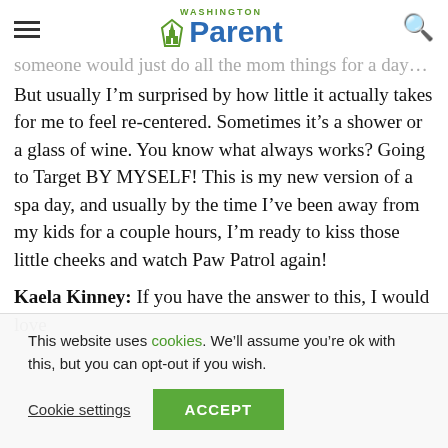Washington Parent
someone would just do all the mom things for a day… But usually I'm surprised by how little it actually takes for me to feel re-centered. Sometimes it's a shower or a glass of wine. You know what always works? Going to Target BY MYSELF! This is my new version of a spa day, and usually by the time I've been away from my kids for a couple hours, I'm ready to kiss those little cheeks and watch Paw Patrol again!
Kaela Kinney: If you have the answer to this, I would love
This website uses cookies. We'll assume you're ok with this, but you can opt-out if you wish. Cookie settings ACCEPT